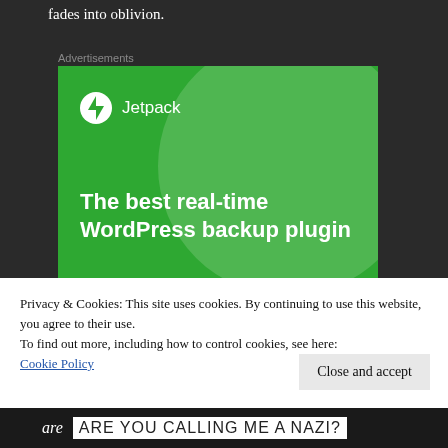fades into oblivion.
Advertisements
[Figure (screenshot): Jetpack WordPress plugin advertisement on a green background. Shows the Jetpack logo (lightning bolt icon) and text: 'The best real-time WordPress backup plugin' with a white button bar at the bottom.]
Privacy & Cookies: This site uses cookies. By continuing to use this website, you agree to their use.
To find out more, including how to control cookies, see here: Cookie Policy
Close and accept
are   Are you calling me a Nazi?